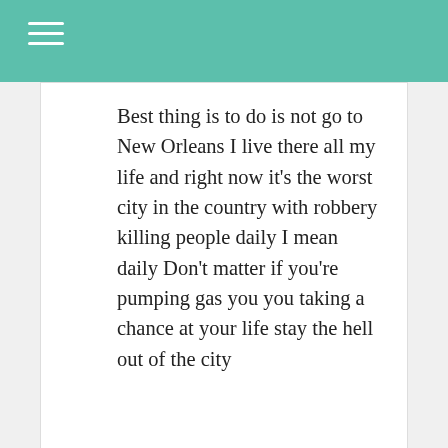Best thing is to do is not go to New Orleans I live there all my life and right now it's the worst city in the country with robbery killing people daily I mean daily Don't matter if you're pumping gas you you taking a chance at your life stay the hell out of the city
Johnny jimenea says:
May 23, 2022 at 1:31 pm
shout out by the from ormoc city